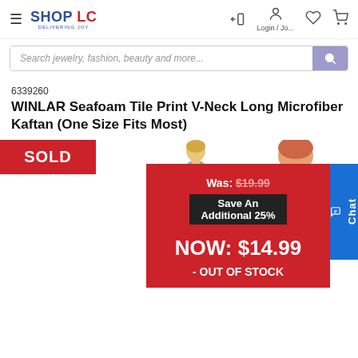[Figure (screenshot): Shop LC logo with 'DELIVERING JOY' subtitle, hamburger menu, login/join icon, heart icon, cart icon, and search bar]
6339260
WINLAR Seafoam Tile Print V-Neck Long Microfiber Kaftan (One Size Fits Most)
[Figure (screenshot): Product page showing SOLD badge, kaftan product image, price overlay with Was: $19.99, Save An Additional 25%, NOW: $14.99, - OUT OF STOCK, and Chat button]